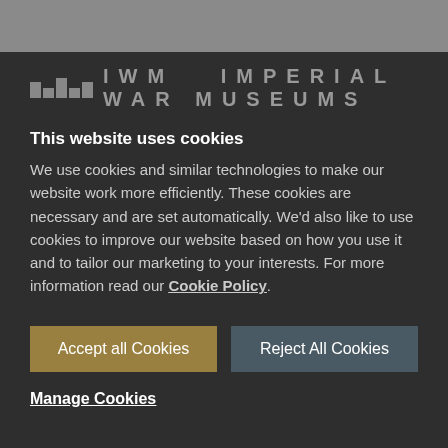[Figure (logo): IWM Imperial War Museums logo in grey on dark background]
This website uses cookies
We use cookies and similar technologies to make our website work more efficiently. These cookies are necessary and are set automatically. We'd also like to use cookies to improve our website based on how you use it and to tailor our marketing to your interests. For more information read our Cookie Policy.
Accept all Cookies
Reject All Cookies
Manage Cookies